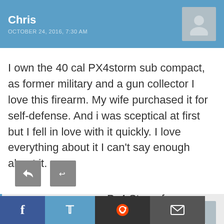Chris
OCTOBER 24, 2016, 7:30 AM
I own the 40 cal PX4storm sub compact, as former military and a gun collector I love this firearm. My wife purchased it for self-defense. And i was sceptical at first but I fell in love with it quickly. I love everything about it I can't say enough about it.
LarryC
DECEMBER 29, 2017, 10:12 AM
I adopted the exact same Px4 Storm for carry two years ago. It's 40